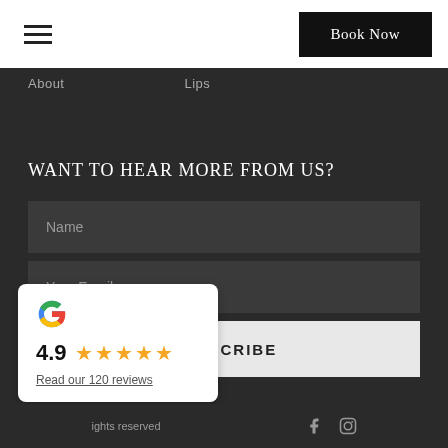Book Now
About   Lips
WANT TO HEAR MORE FROM US?
Name
Your Email
SUBSCRIBE
[Figure (infographic): Google review card showing 4.9 rating with 5 gold stars and a link to read 120 reviews]
rights reserved